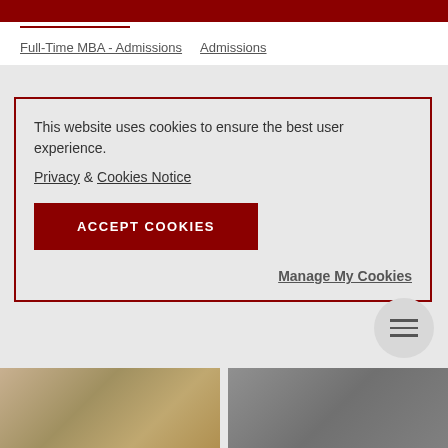Full-Time MBA - Admissions   Admissions
This website uses cookies to ensure the best user experience.
Privacy & Cookies Notice
ACCEPT COOKIES
Manage My Cookies
[Figure (photo): Two photos at bottom of page showing groups of people]
[Figure (other): Hamburger menu button (three horizontal lines) in a circular gray button]